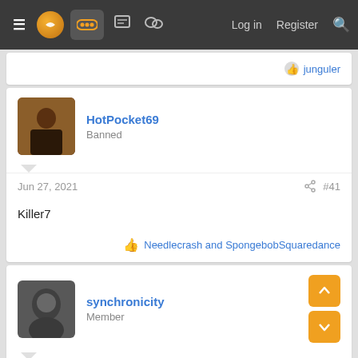≡ [logo] [games] [forum] [chat]  Log in  Register  🔍
junguler
HotPocket69
Banned
Jun 27, 2021  #41
Killer7
Needlecrash and SpongebobSquaredance
synchronicity
Member
Jun 27, 2021  #42